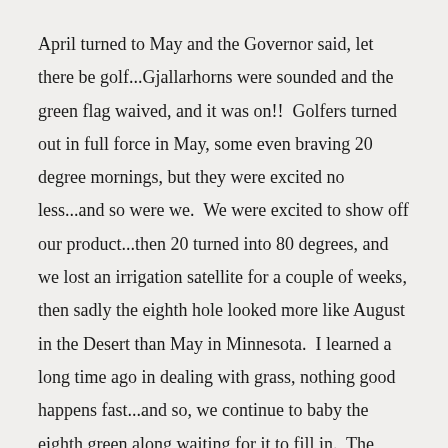April turned to May and the Governor said, let there be golf...Gjallarhorns were sounded and the green flag waived, and it was on!!  Golfers turned out in full force in May, some even braving 20 degree mornings, but they were excited no less...and so were we.  We were excited to show off our product...then 20 turned into 80 degrees, and we lost an irrigation satellite for a couple of weeks, then sadly the eighth hole looked more like August in the Desert than May in Minnesota.  I learned a long time ago in dealing with grass, nothing good happens fast...and so, we continue to baby the eighth green along waiting for it to fill in.  The good thing is that most of the issue is cosmetic and we are able to keep the green rolling smooth as ever.